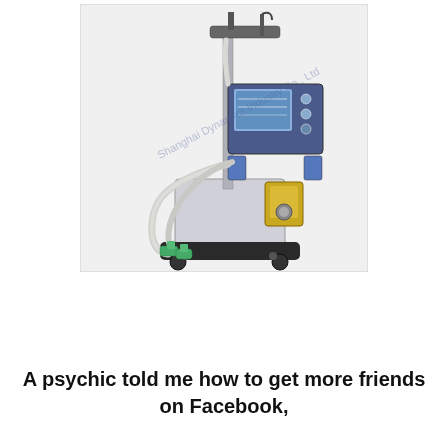[Figure (photo): A medical ventilator machine on wheels with a display screen, breathing circuit tubes with green connectors, and a watermark reading 'Shanghai Dynamics Industry Co., Ltd']
A psychic told me how to get more friends on Facebook,